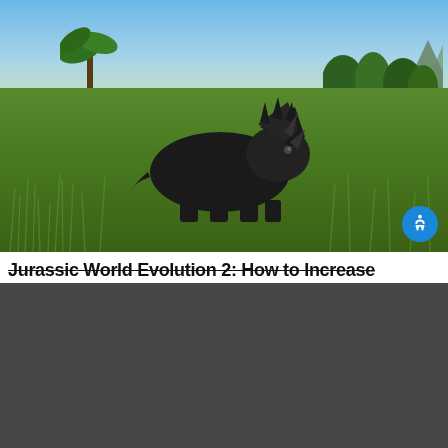[Figure (screenshot): Screenshot of Jurassic World Evolution 2 game showing a triceratops dinosaur in a green field with mountains and trees in the background. A blue accessibility icon is in the bottom right corner.]
Jurassic World Evolution 2: How to Increase
[Figure (screenshot): Screenshot overlay showing a media error message on a dark gray background. Text reads: 'The media could not be loaded, either because the server or network failed or because the format is not supported.' A small video widget is in the lower left showing Verizon advertisement with people and text 'Adam Scott describes really, really fun'. An X close button is at the bottom center.]